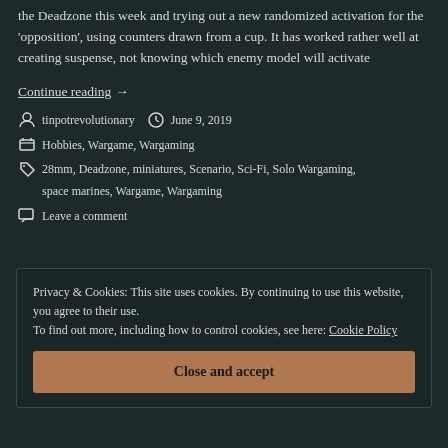the Deadzone this week and trying out a new randomized activation for the 'opposition', using counters drawn from a cup. It has worked rather well at creating suspense, not knowing which enemy model will activate
Continue reading  →
tinpotrevolutionary   June 9, 2019
Hobbies, Wargame, Wargaming
28mm, Deadzone, miniatures, Scenario, Sci-Fi, Solo Wargaming, space marines, Wargame, Wargaming
Leave a comment
Privacy & Cookies: This site uses cookies. By continuing to use this website, you agree to their use.
To find out more, including how to control cookies, see here: Cookie Policy
Close and accept